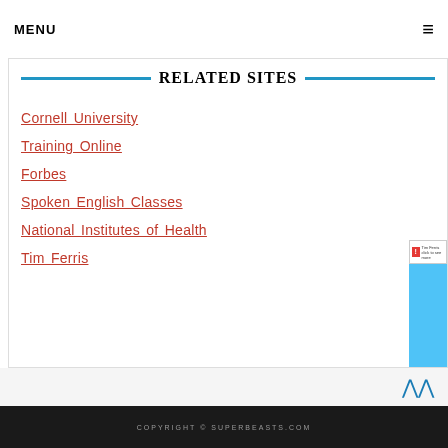MENU ≡
RELATED SITES
Cornell University
Training Online
Forbes
Spoken English Classes
National Institutes of Health
Tim Ferris
COPYRIGHT © SUPERBEASTS.COM